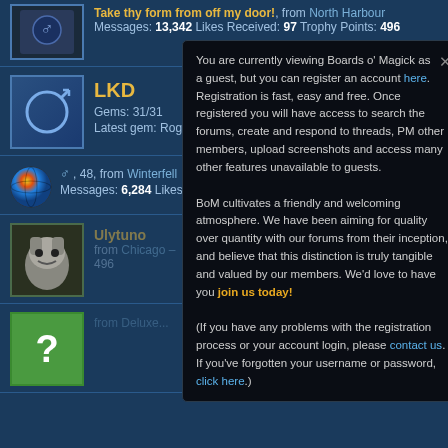Take thy form from off my door!, from North Harbour. Messages: 13,342 Likes Received: 97 Trophy Points: 496
LKD
Gems: 31/31. Latest gem: Rogue Stone
Male, 48, from Winterfell. Messages: 6,284 Likes Received: 271 Trophy Points: 36
[Figure (screenshot): Avatar image - male symbol on blue gradient background (LKD user)]
[Figure (screenshot): Globe avatar icon for user aged 48 from Winterfell]
[Figure (screenshot): Fantasy creature avatar for member row]
[Figure (screenshot): Green avatar with question mark for member row]
You are currently viewing Boards o' Magick as a guest, but you can register an account here. Registration is fast, easy and free. Once registered you will have access to search the forums, create and respond to threads, PM other members, upload screenshots and access many other features unavailable to guests. BoM cultivates a friendly and welcoming atmosphere. We have been aiming for quality over quantity with our forums from their inception, and believe that this distinction is truly tangible and valued by our members. We'd love to have you join us today! (If you have any problems with the registration process or your account login, please contact us. If you've forgotten your username or password, click here.)